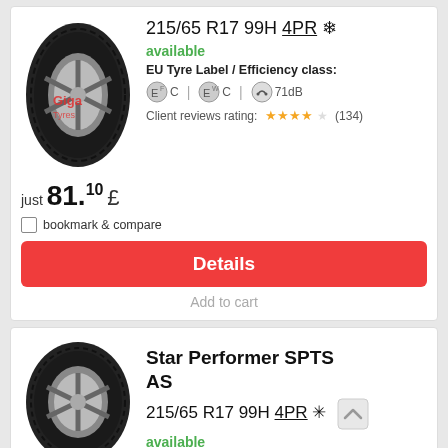[Figure (photo): Tyre product image with Giga Tyres watermark]
215/65 R17 99H 4PR ❄
available
EU Tyre Label / Efficiency class:
C | C | 71dB
Client reviews rating: ★★★★☆ (134)
just 81.10 £
bookmark & compare
Details
Add to cart
[Figure (photo): Star Performer SPTS AS tyre product image]
Star Performer SPTS AS
215/65 R17 99H 4PR ✳
available